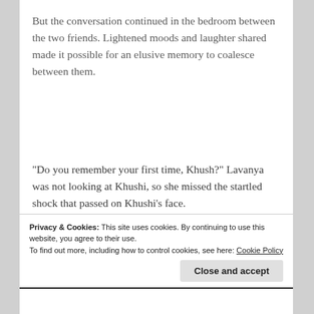But the conversation continued in the bedroom between the two friends. Lightened moods and laughter shared made it possible for an elusive memory to coalesce between them.
“Do you remember your first time, Khush?” Lavanya was not looking at Khushi, so she missed the startled shock that passed on Khushi’s face.
Privacy & Cookies: This site uses cookies. By continuing to use this website, you agree to their use.
To find out more, including how to control cookies, see here: Cookie Policy